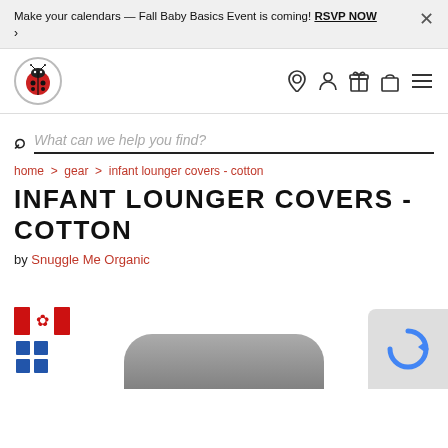Make your calendars — Fall Baby Basics Event is coming! RSVP NOW ›
[Figure (logo): Snuggle Me Organic ladybug logo circle]
Search: What can we help you find?
home › gear › infant lounger covers - cotton
INFANT LOUNGER COVERS - COTTON
by Snuggle Me Organic
[Figure (logo): Canadian flag badge with maple leaf and small blue squares]
[Figure (photo): Gray infant lounger cover product image at bottom of page]
[Figure (other): reCAPTCHA widget in bottom right corner]